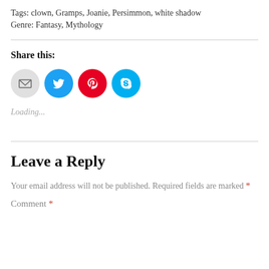Tags: clown, Gramps, Joanie, Persimmon, white shadow
Genre: Fantasy, Mythology
Share this:
[Figure (other): Four social media icon circles: email (grey), Twitter (blue), Pinterest (red), Skype (blue)]
Loading...
Leave a Reply
Your email address will not be published. Required fields are marked *
Comment *